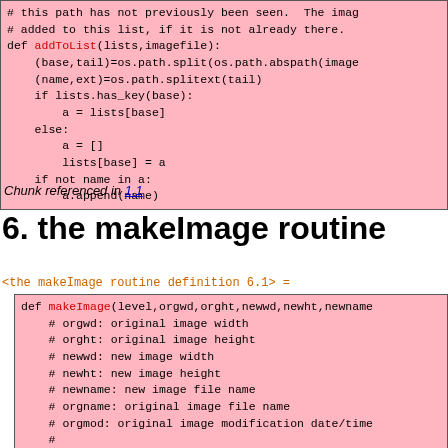[Figure (screenshot): Pink code block showing addToList function definition with Python code]
Chunk referenced in 1.1
6. the makeImage routine
<the makeImage routine definition 6.1> =
[Figure (screenshot): Pink code block showing makeImage function definition with parameter comments]